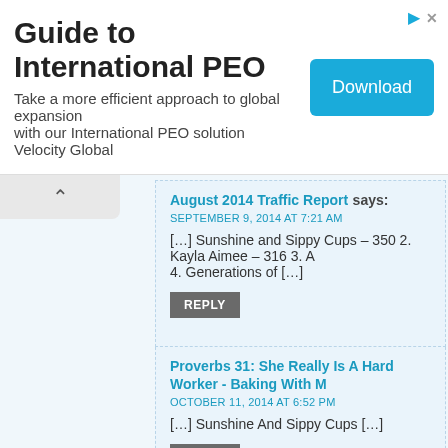[Figure (other): Advertisement banner for Guide to International PEO with a Download button]
August 2014 Traffic Report says:
SEPTEMBER 9, 2014 AT 7:21 AM
[...] Sunshine and Sippy Cups – 350 2. Kayla Aimee – 316 3. A 4. Generations of [...]
REPLY
Proverbs 31: She Really Is A Hard Worker - Baking With M says:
OCTOBER 11, 2014 AT 6:52 PM
[...] Sunshine And Sippy Cups [...]
REPLY
Weekend Wander #124 says: